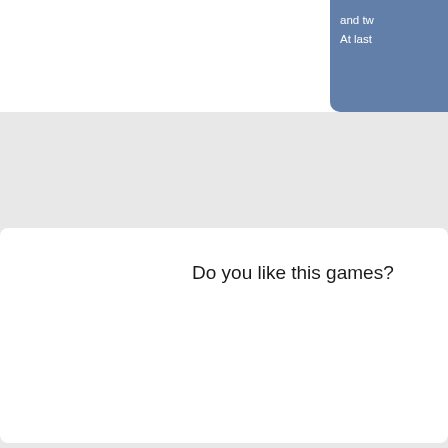and tw
At last
Do you like this games?
Merge Fruit Tags, Control and d
[Figure (illustration): A top-down view of a cutting board with various fruits: a large watermelon slice (green with dark stripes), a red tomato slice, an orange slice, a kiwi slice, a small red cherry, and other round fruit pieces on a tan/cream background with rounded corners.]
Tags:
Drag
level
Merge Fruit Related Games